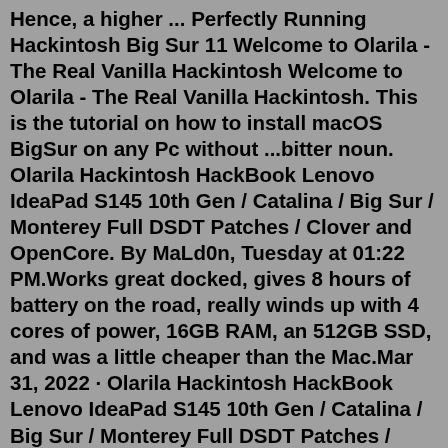Hence, a higher ... Perfectly Running Hackintosh Big Sur 11 Welcome to Olarila - The Real Vanilla Hackintosh Welcome to Olarila - The Real Vanilla Hackintosh. This is the tutorial on how to install macOS BigSur on any Pc without ...bitter noun. Olarila Hackintosh HackBook Lenovo IdeaPad S145 10th Gen / Catalina / Big Sur / Monterey Full DSDT Patches / Clover and OpenCore. By MaLd0n, Tuesday at 01:22 PM.Works great docked, gives 8 hours of battery on the road, really winds up with 4 cores of power, 16GB RAM, an 512GB SSD, and was a little cheaper than the Mac.Mar 31, 2022 · Olarila Hackintosh HackBook Lenovo IdeaPad S145 10th Gen / Catalina / Big Sur / Monterey Full DSDT Patches / Clover and OpenCore. By MaLd0n, Tuesday at 01-22 PM. Labels- baixar mac, Catalina, CATALINA AMD Olarila, DOWNLOAD, Hackintosh, HIGH SIERRA Olarila, High Sierrra, MOJAVE AMD Olarila, Olarila download, Sierra Newer Posts Older Posts Home ... --macOS Monterey is out! Build 21A559... #MacOS #hackintosh #vanilla